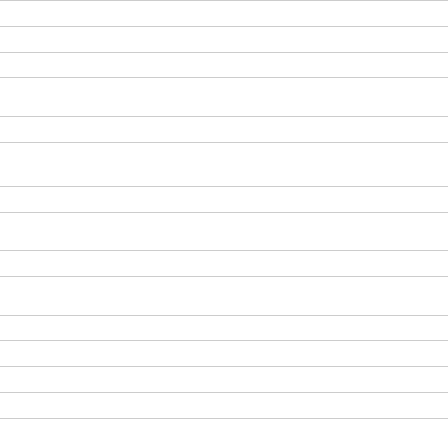| Day | Entry |
| --- | --- |
| 12 | St JOHN JONES, ma… |
| 23 | St BRIDGET, religiou… |
| 23 | St PHILIP EVANS an… |
| August |  |
| 3 | St GERMANUS OF A… |
| 9 | St TERESA BENEDICTA (EDITH STEIN),virgin, martyr… |
| 26 | St DAVID LEWIS, ma… |
| September |  |
| 11 | St DEINIOL, bishop |
| October |  |
| 9 | Bl JOHN HENRY NE… |
| 16 | St RICHARD GWYN,… |
| 22 | St JOHN PAUL II, po… |
| 25 | SIX WELSH MARTY… |
| November |  |
| 3 | St WINIFRIDE, virgin… |
| 6 | St ILLTUD, abbot |
| 8 | ALL SAINTS of WAL… |
| 11 | St DYFRIG, bish… |